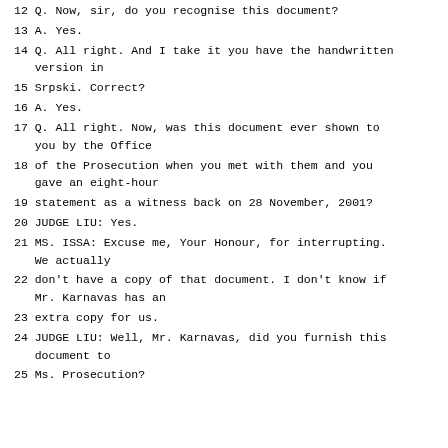12 Q. Now, sir, do you recognise this document?
13 A. Yes.
14 Q. All right. And I take it you have the handwritten version in
15 Srpski. Correct?
16 A. Yes.
17 Q. All right. Now, was this document ever shown to you by the Office
18 of the Prosecution when you met with them and you gave an eight-hour
19 statement as a witness back on 28 November, 2001?
20 JUDGE LIU: Yes.
21 MS. ISSA: Excuse me, Your Honour, for interrupting. We actually
22 don't have a copy of that document. I don't know if Mr. Karnavas has an
23 extra copy for us.
24 JUDGE LIU: Well, Mr. Karnavas, did you furnish this document to
25 Ms. Prosecution?